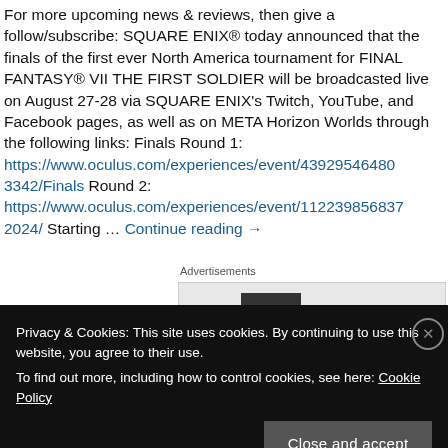For more upcoming news & reviews, then give a follow/subscribe: SQUARE ENIX® today announced that the finals of the first ever North America tournament for FINAL FANTASY® VII THE FIRST SOLDIER will be broadcasted live on August 27-28 via SQUARE ENIX's Twitch, YouTube, and Facebook pages, as well as on META Horizon Worlds through the following links: Finals Round 1: https://www.oculus.com/experiences/event/43929546480 3342/Finals Round 2: https://www.oculus.com/experiences/event/112239856837 2024/ Starting … Continue reading →
Advertisements
[Figure (other): Advertisement placeholder box with dark inner element]
Privacy & Cookies: This site uses cookies. By continuing to use this website, you agree to their use.
To find out more, including how to control cookies, see here: Cookie Policy
Close and accept